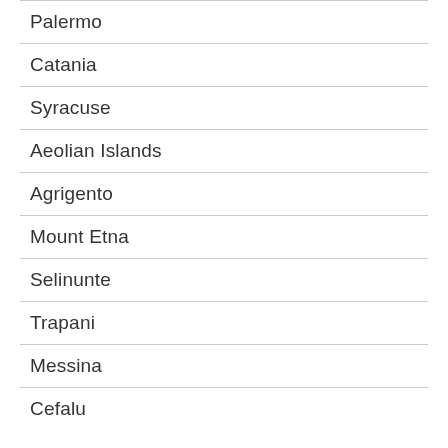Palermo
Catania
Syracuse
Aeolian Islands
Agrigento
Mount Etna
Selinunte
Trapani
Messina
Cefalu